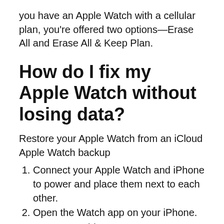you have an Apple Watch with a cellular plan, you're offered two options—Erase All and Erase All & Keep Plan.
How do I fix my Apple Watch without losing data?
Restore your Apple Watch from an iCloud Apple Watch backup
Connect your Apple Watch and iPhone to power and place them next to each other.
Open the Watch app on your iPhone.
Tap Start Pairing.
Once the Watch pairs, tap Restore from Backup.
Choose the backup you want to restore.